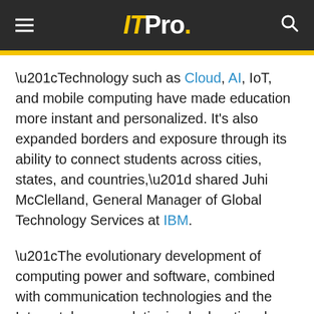ITPro.
“Technology such as Cloud, AI, IoT, and mobile computing have made education more instant and personalized. It’s also expanded borders and exposure through its ability to connect students across cities, states, and countries,” shared Juhi McClelland, General Manager of Global Technology Services at IBM.
“The evolutionary development of computing power and software, combined with communication technologies and the Internet, have revolutionized educational capabilities and expectations,” agreed Terry S. Latour, Dean of the University Library at